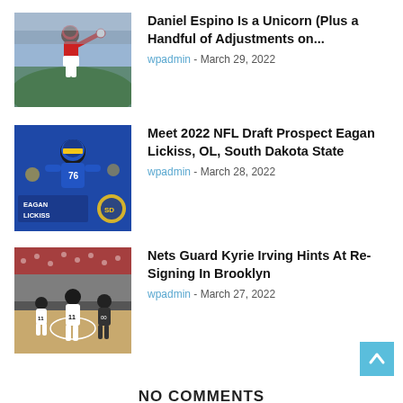[Figure (photo): Baseball pitcher in red uniform throwing a pitch in a stadium]
Daniel Espino Is a Unicorn (Plus a Handful of Adjustments on...
wpadmin - March 29, 2022
[Figure (photo): Football player in blue uniform with Eagan Lickiss name card overlay on blue background with team logo]
Meet 2022 NFL Draft Prospect Eagan Lickiss, OL, South Dakota State
wpadmin - March 28, 2022
[Figure (photo): Basketball players on court in arena with crowd in background]
Nets Guard Kyrie Irving Hints At Re-Signing In Brooklyn
wpadmin - March 27, 2022
NO COMMENTS
LEAVE A REPLY